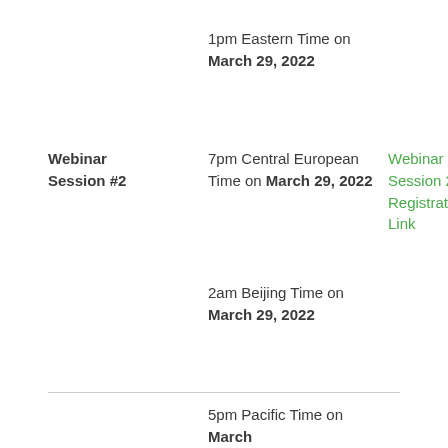1pm Eastern Time on March 29, 2022
Webinar Session #2
7pm Central European Time on March 29, 2022
Webinar Session 2 Registration Link
2am Beijing Time on March 29, 2022
5pm Pacific Time on March